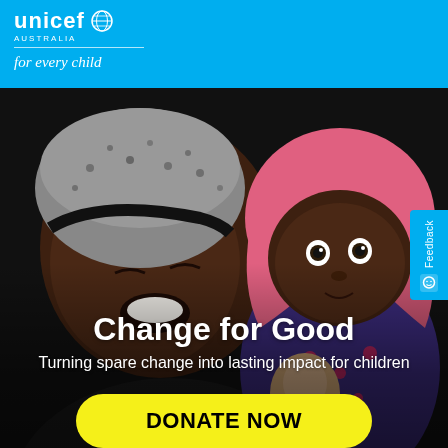[Figure (logo): UNICEF Australia logo with globe icon and 'for every child' tagline on blue background]
[Figure (photo): A smiling African mother in a patterned headscarf holding a baby wearing a pink fleece hat, both looking joyful]
Change for Good
Turning spare change into lasting impact for children
DONATE NOW